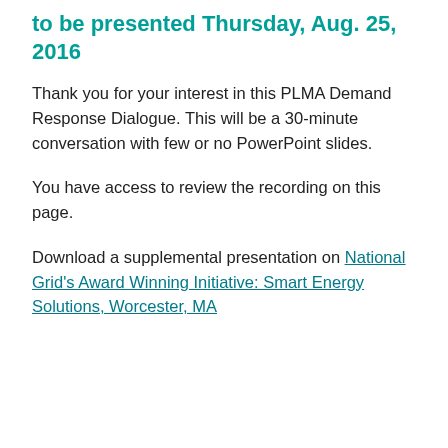to be presented Thursday, Aug. 25, 2016
Thank you for your interest in this PLMA Demand Response Dialogue. This will be a 30-minute conversation with few or no PowerPoint slides.
You have access to review the recording on this page.
Download a supplemental presentation on National Grid's Award Winning Initiative: Smart Energy Solutions, Worcester, MA